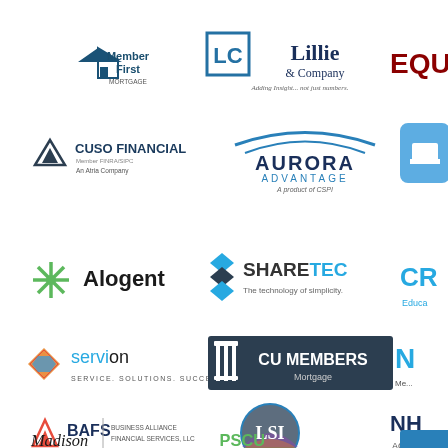[Figure (logo): MemberFirst Mortgage logo]
[Figure (logo): Lillie & Company logo - Adding Insight... not just numbers.]
[Figure (logo): EQUI- (partially visible) logo in red/maroon]
[Figure (logo): CUSO Financial - An Atria Company, Member FINRA/SIPC logo]
[Figure (logo): Aurora Advantage - A product of CSPI logo]
[Figure (logo): Partially visible icon/logo (hat icon in blue square)]
[Figure (logo): Alogent logo with green asterisk/snowflake icon]
[Figure (logo): SHARETEC - The technology of simplicity. logo]
[Figure (logo): CRI Educa- (partially visible) logo in teal/cyan]
[Figure (logo): servion - SERVICE. SOLUTIONS. SUCCESS. logo with colorful diamond icon]
[Figure (logo): CU MEMBERS Mortgage logo]
[Figure (logo): N- (partially visible) logo]
[Figure (logo): BAFS - Business Alliance Financial Services, LLC logo]
[Figure (logo): LSI circular logo with landscape]
[Figure (logo): NH- ACT- (partially visible) logo]
[Figure (logo): Madison (script font) logo - partially visible]
[Figure (logo): PSCU (partially visible) logo with green arrow]
[Figure (logo): Partially visible blue logo bottom right]